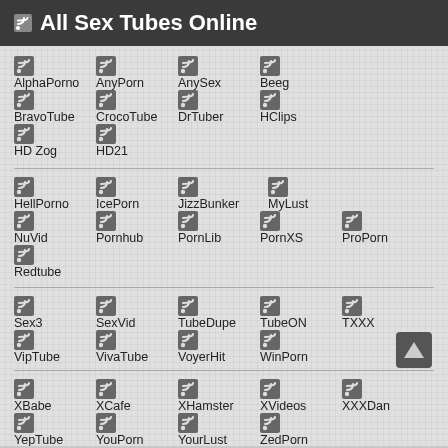All Sex Tubes Online
AlphaPorno
AnyPorn
AnySex
Beeg
BravoTube
CrocoTube
DrTuber
HClips
HD Zog
HD21
HellPorno
IcePorn
JizzBunker
MyLust
NuVid
Pornhub
PornLib
PornXS
ProPorn
Redtube
Sex3
SexVid
TubeDupe
TubeON
TXXX
VipTube
VivaTube
VoyerHit
WinPorn
XBabe
XCafe
XHamster
XVideos
XXXDan
YepTube
YouPorn
YourLust
ZedPorn